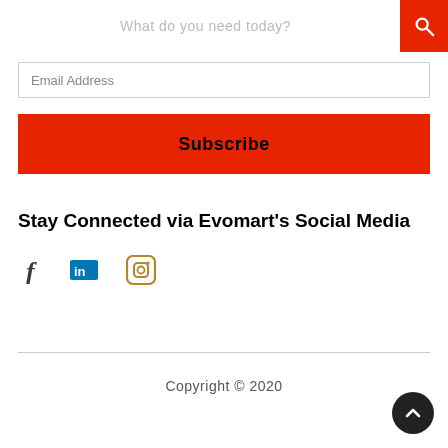What do you need today?
Email Address
Subscribe
Stay Connected via Evomart’s Social Media
[Figure (illustration): Social media icons: Facebook (f), LinkedIn (in), Instagram (camera icon)]
Copyright © 2020